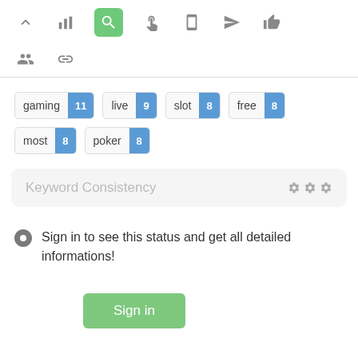[Figure (screenshot): Top navigation toolbar with icons: chevron up, bar chart, magnifying glass (active/highlighted green), hand pointer, mobile device, rocket/send, thumbs up]
[Figure (screenshot): Second toolbar row with two icons: group/people icon and chain/link icon]
[Figure (screenshot): Tag badges showing: gaming 11, live 9, slot 8, free 8, most 8, poker 8]
Keyword Consistency
Sign in to see this status and get all detailed informations!
[Figure (screenshot): Green Sign in button]